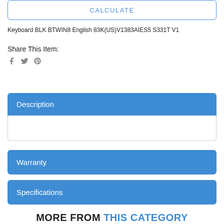CALCULATE
Keyboard BLK BTWIN8 English 83K(US)V1383AIES5 S331T V1
Share This Item:
Description
Warranty
Specifications
MORE FROM THIS CATEGORY